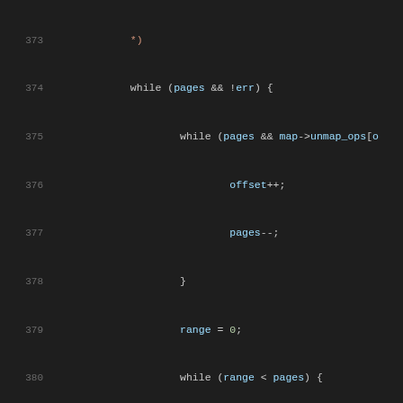[Figure (screenshot): Source code listing showing C code lines 373-394 with syntax highlighting on a dark background. Code shows nested while loops, range/offset/pages variable manipulations, and a call to __unmap_grant_pages.]